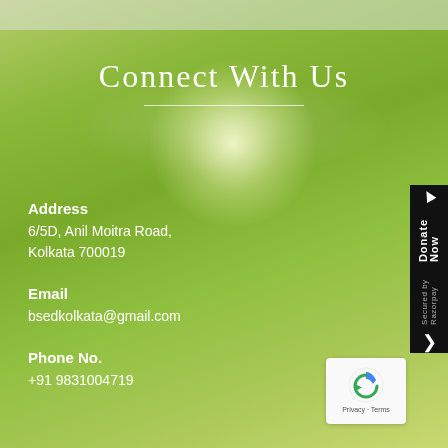Connect With Us
Address
6/5D, Anil Moitra Road,
Kolkata 700019
Email
bsedkolkata@gmail.com
Phone No.
+91 9831004719
[Figure (other): Donate Now badge with Razorpay branding, vertical black strip on right side]
[Figure (other): reCAPTCHA widget box with Privacy and Terms links]